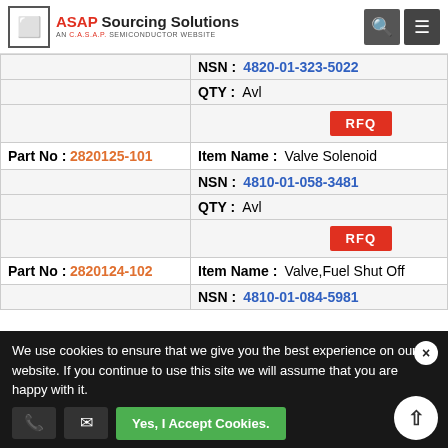ASAP Sourcing Solutions - AN C.A.S.A.P. SEMICONDUCTOR WEBSITE
| Part No | Item Name / NSN / QTY / RFQ |
| --- | --- |
| NSN: | 4820-01-323-5022 |
| QTY: | Avl |
|  | RFQ |
| Part No: 2820125-101 | Item Name: Valve Solenoid |
| NSN: | 4810-01-058-3481 |
| QTY: | Avl |
|  | RFQ |
| Part No: 2820124-102 | Item Name: Valve,Fuel Shut Off |
| NSN: | 4810-01-084-5981 |
| QTY: | Avl |
|  | RFQ |
| Part No: 2813053-101 | Item Name: Poppet Assembly,Val |
| NSN: | 4820-01-139-5008 |
| QTY: | Avl |
We use cookies to ensure that we give you the best experience on our website. If you continue to use this site we will assume that you are happy with it.
Yes, I Accept Cookies.